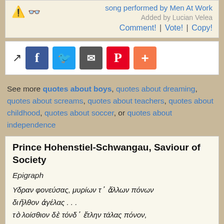song performed by Men At Work
Added by Lucian Velea
Comment! | Vote! | Copy!
[Figure (screenshot): Social sharing buttons: share icon, Facebook, Twitter, Email, Pinterest, Plus]
See more quotes about boys, quotes about dreaming, quotes about screams, quotes about teachers, quotes about childhood, quotes about soccer, or quotes about independence
Prince Hohenstiel-Schwangau, Saviour of Society
Epigraph
Υδραν φονεύσας, μυρίων τ᾽ ἄλλων πόνων διῆλθον ἀγέλας . . .
τὸ λοίσθιον δὲ τόνδ᾽ ἔτλην τάλας πόνον,
. . . δῶμα θριγκῶσαι κακοῖς.
I slew the Hydra, and from labour pass'd